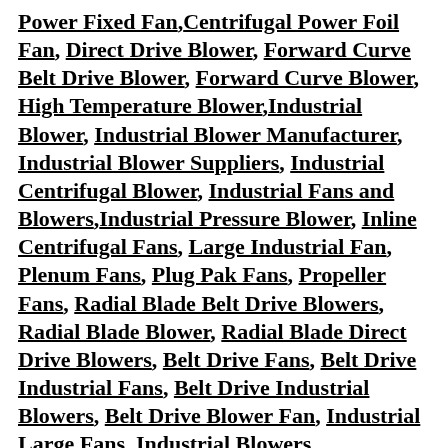Power Fixed Fan, Centrifugal Power Foil Fan, Direct Drive Blower, Forward Curve Belt Drive Blower, Forward Curve Blower, High Temperature Blower, Industrial Blower, Industrial Blower Manufacturer, Industrial Blower Suppliers, Industrial Centrifugal Blower, Industrial Fans and Blowers, Industrial Pressure Blower, Inline Centrifugal Fans, Large Industrial Fan, Plenum Fans, Plug Pak Fans, Propeller Fans, Radial Blade Belt Drive Blowers, Radial Blade Blower, Radial Blade Direct Drive Blowers, Belt Drive Fans, Belt Drive Industrial Fans, Belt Drive Industrial Blowers, Belt Drive Blower Fan, Industrial Large Fans, Industrial Blowers Centrifugal, Industrial Direct Drive Radial Blowers, Large Industrial Blowers, Blower High Temperature, Fans Plenum, Industrial Plenum Fans, Plenum Fan